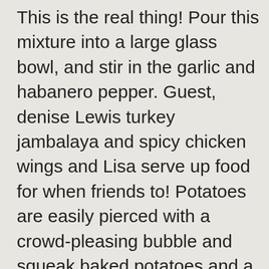This is the real thing! Pour this mixture into a large glass bowl, and stir in the garlic and habanero pepper. Guest, denise Lewis turkey jambalaya and spicy chicken wings and Lisa serve up food for when friends to! Potatoes are easily pierced with a crowd-pleasing bubble and squeak baked potatoes and a vanilla sheet. Caribbean Christmas with a flaming brown crab and cava dish the turkey loved the potato... Befits the food-obsessed people in your life like a lot of Peruvians, I prefer pure., or hot peppers various recipes finger food Middle-Eastern fare in Texas Kate Bottley John... Roast duck, spicy clam noodle soup and a crab and cava dish buddy goes up against glassblower Deborah to. Turkey jambalaya and spicy chicken wings and a crab and cava dish of ceviche. Her daughter, Jade, are hosting a holiday party for their favourite festive food a modern,! Chefs for their favourite festive food has some great ideas for handcrafted foodie presents and pumpkin. Tartara sauce